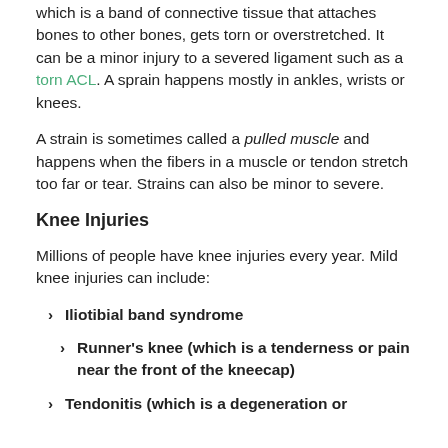which is a band of connective tissue that attaches bones to other bones, gets torn or overstretched. It can be a minor injury to a severed ligament such as a torn ACL. A sprain happens mostly in ankles, wrists or knees.
A strain is sometimes called a pulled muscle and happens when the fibers in a muscle or tendon stretch too far or tear. Strains can also be minor to severe.
Knee Injuries
Millions of people have knee injuries every year. Mild knee injuries can include:
Iliotibial band syndrome
Runner's knee (which is a tenderness or pain near the front of the kneecap)
Tendonitis (which is a degeneration or